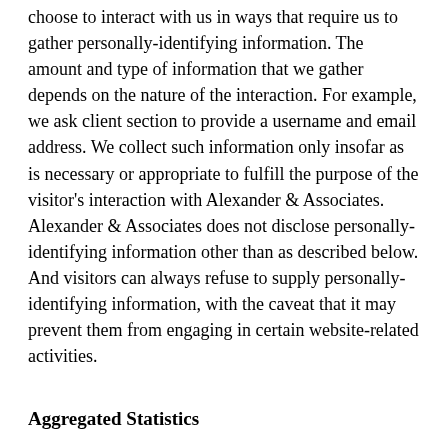choose to interact with us in ways that require us to gather personally-identifying information. The amount and type of information that we gather depends on the nature of the interaction. For example, we ask client section to provide a username and email address. We collect such information only insofar as is necessary or appropriate to fulfill the purpose of the visitor's interaction with Alexander & Associates. Alexander & Associates does not disclose personally-identifying information other than as described below. And visitors can always refuse to supply personally-identifying information, with the caveat that it may prevent them from engaging in certain website-related activities.
Aggregated Statistics
Alexander & Associates may collect statistics about the behavior of visitors to its website. For instance, Alexander & Associates may monitor the most popular pages on the site. Alexander & Associates may display